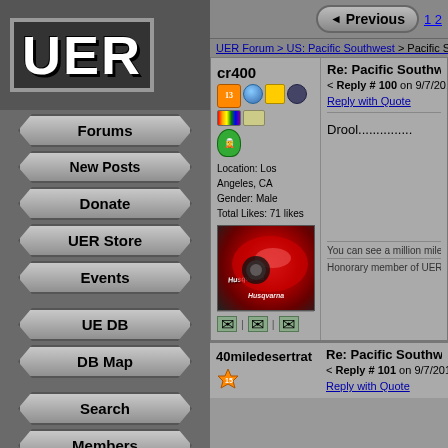[Figure (logo): UER logo in white bold text on dark background with border]
Forums
New Posts
Donate
UER Store
Events
UE DB
DB Map
Search
Members
FAQ
T.O.S.
Privacy
Register
Login
Previous  1 2
UER Forum > US: Pacific Southwest > Pacific Southwest photo a
cr400
Re: Pacific Southwest photo a day
< Reply # 100 on 9/7/2011 2:40 AM
Reply with Quote
Location: Los Angeles, CA
Gender: Male
Total Likes: 71 likes
[Figure (photo): Close-up photo of a red Husqvarna motorcycle fuel tank]
Drool...............
You can see a million miles tonite, but you can't get
Honorary member of UER lifetime acheivement awa
40miledesertrat
Re: Pacific Southwest photo a day
< Reply # 101 on 9/7/2011 5:07 AM
Reply with Quote